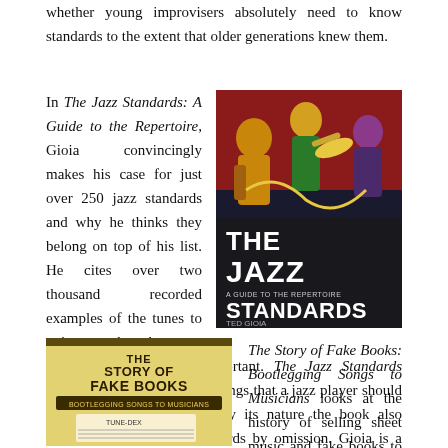whether young improvisers absolutely need to know standards to the extent that older generations knew them.
In The Jazz Standards: A Guide to the Repertoire, Gioia convincingly makes his case for just over 250 jazz standards and why he thinks they belong on top of his list. He cites over two thousand recorded examples of the tunes to point out that these are truly among the most important. The Jazz Standards highlights a lot of essential songs that a jazz player should know inside and out, but by its nature the book also highlights many great standards by omission. Gioia is a thoughtful writer and he makes a good case for the inclusion of each of his selections.
[Figure (photo): Book cover of 'The Jazz Standards: A Guide to the Repertoire' by Ted Gioia, featuring colorful abstract jazz musician illustrations with bold white title text on dark background]
[Figure (photo): Book cover of 'The Story of Fake Books: Bootlegging Songs to Musicians' showing a yellow cover with book title and sheet music imagery]
The Story of Fake Books: Bootlegging Songs to Musicians looks at the history of selling sheet music and fake books to musicians. Barry Kernfeld tells the whole history, from the Tune-Dex sheet music subscription service to the